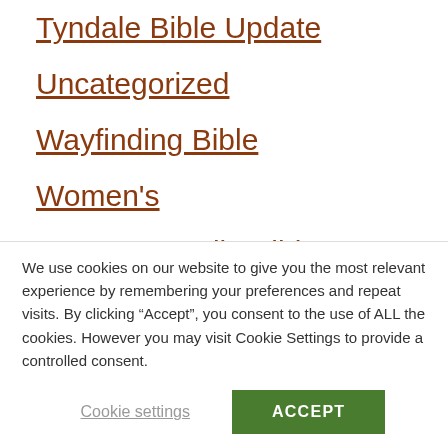Tyndale Bible Update
Uncategorized
Wayfinding Bible
Women's
Women's Audio Bible
Worldwide
We use cookies on our website to give you the most relevant experience by remembering your preferences and repeat visits. By clicking “Accept”, you consent to the use of ALL the cookies. However you may visit Cookie Settings to provide a controlled consent.
Cookie settings | ACCEPT